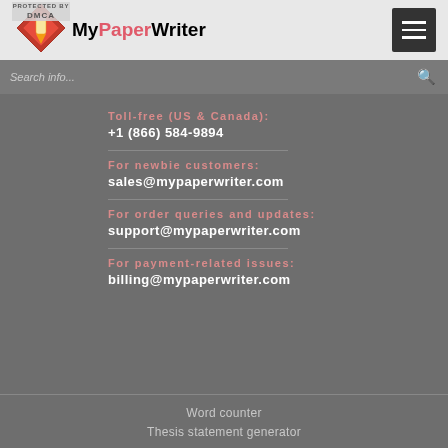MyPaperWriter
Toll-free (US & Canada):
+1 (866) 584-9894
For newbie customers:
sales@mypaperwriter.com
For order queries and updates:
support@mypaperwriter.com
For payment-related issues:
billing@mypaperwriter.com
Word counter
Thesis statement generator